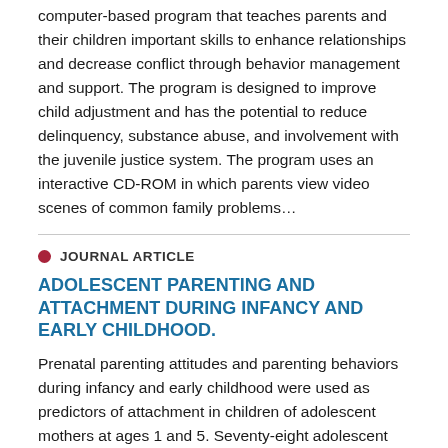computer-based program that teaches parents and their children important skills to enhance relationships and decrease conflict through behavior management and support. The program is designed to improve child adjustment and has the potential to reduce delinquency, substance abuse, and involvement with the juvenile justice system. The program uses an interactive CD-ROM in which parents view video scenes of common family problems…
JOURNAL ARTICLE
ADOLESCENT PARENTING AND ATTACHMENT DURING INFANCY AND EARLY CHILDHOOD.
Prenatal parenting attitudes and parenting behaviors during infancy and early childhood were used as predictors of attachment in children of adolescent mothers at ages 1 and 5. Seventy-eight adolescent mother - child dyads participated. Data were collected at five time points from the third trimester of pregnancy through the children's 5th year. A high percentage of children exhibited disorganized and insecure